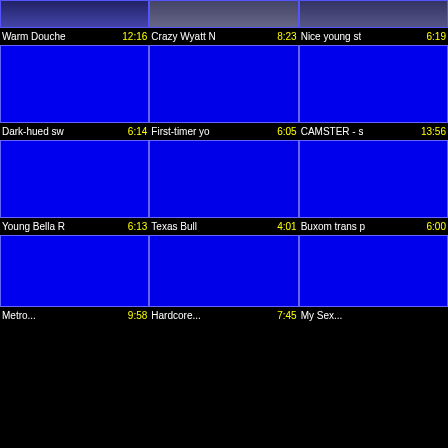[Figure (screenshot): Video grid thumbnail row 1 partial - 3 thumbnails partially visible]
Warm Douche  12:16   Crazy Wyatt N  8:23   Nice young st  6:19
[Figure (screenshot): Video grid thumbnail row 2 - 3 blue thumbnails]
Dark-hued sw  6:14   First-timer yo  6:05   CAMSTER - s  13:56
[Figure (screenshot): Video grid thumbnail row 3 - 3 blue thumbnails]
Young Bella R  6:13   Texas Bull  4:01   Buxom trans p  6:00
[Figure (screenshot): Video grid thumbnail row 4 - 3 blue thumbnails partially cut off]
Metro...  9:58   Hardcore...  7:45   My Sex...  ...